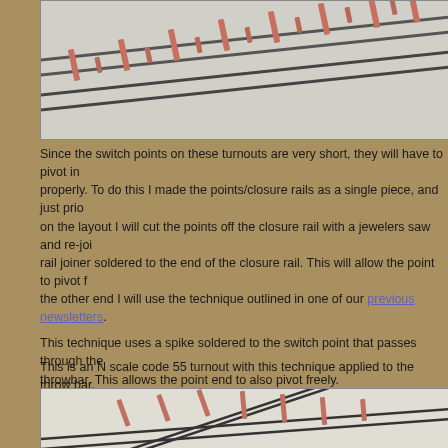[Figure (photo): Close-up photo of model railroad turnout/switch rails on a light gray surface, showing metal rails and wooden ties with copper/red rail joiners, viewed at an angle.]
Since the switch points on these turnouts are very short, they will have to pivot in both ends to work properly. To do this I made the points/closure rails as a single piece, and just prior to placing them on the layout I will cut the points off the closure rail with a jewelers saw and re-join them with a rail joiner soldered to the end of the closure rail. This will allow the point to pivot freely at that end. At the other end I will use the technique outlined in one of our previous newsletters.
This technique uses a spike soldered to the switch point that passes through the throwbar. This allows the point end to also pivot freely.
[Figure (photo): Small thumbnail image labeled 'Pivot point' showing a detail of the pivot point technique on a model railroad turnout.]
This is an N scale code 55 turnout with this technique applied to the throw bar.
[Figure (photo): Photo of an N scale code 55 model railroad turnout/switch showing the throw bar with pivot technique applied, with multiple rails and ties visible on a light background.]